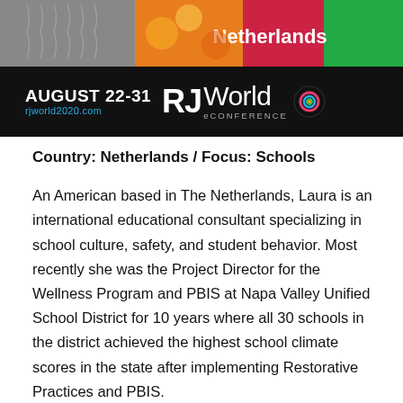[Figure (illustration): RJWorld eCONFERENCE banner image with colorful background showing feathers, flowers, and abstract textures. Text reads 'Netherlands', 'AUGUST 22-31', 'rjworld2020.com', 'RJWorld eCONFERENCE' with a spiral logo.]
Country: Netherlands / Focus: Schools
An American based in The Netherlands, Laura is an international educational consultant specializing in school culture, safety, and student behavior. Most recently she was the Project Director for the Wellness Program and PBIS at Napa Valley Unified School District for 10 years where all 30 schools in the district achieved the highest school climate scores in the state after implementing Restorative Practices and PBIS.